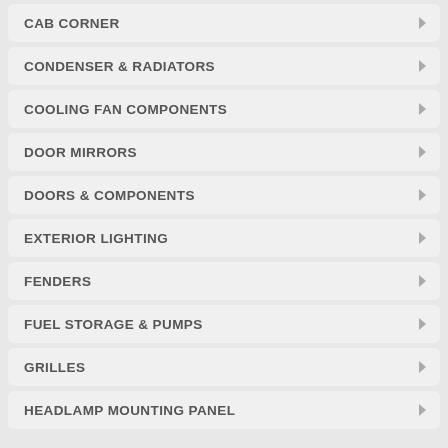CAB CORNER
CONDENSER & RADIATORS
COOLING FAN COMPONENTS
DOOR MIRRORS
DOORS & COMPONENTS
EXTERIOR LIGHTING
FENDERS
FUEL STORAGE & PUMPS
GRILLES
HEADLAMP MOUNTING PANEL